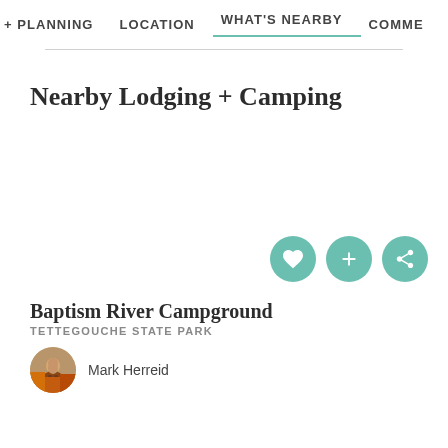+ PLANNING   LOCATION   WHAT'S NEARBY   COMME
Nearby Lodging + Camping
[Figure (illustration): Three circular teal action buttons: heart/favorite icon, plus/add icon, and share icon]
Baptism River Campground
TETTEGOUCHE STATE PARK
[Figure (photo): Round avatar photo of Mark Herreid, a person outdoors in autumn foliage]
Mark Herreid